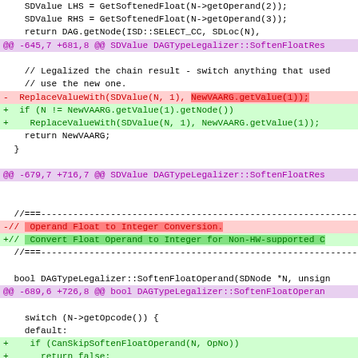[Figure (screenshot): A code diff view showing changes to DAGTypeLegalizer C++ source file with hunk headers in magenta, removed lines in red, and added lines in green.]